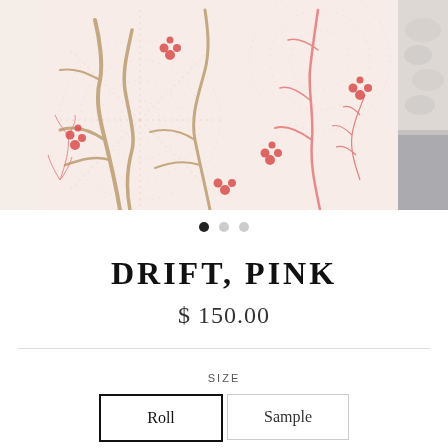[Figure (photo): Wallpaper product image showing a pink and beige undersea/botanical pattern with coral, seaweed, and dotted circular motifs on a cream background. Main image flanked by partial secondary image on the right.]
• • •
DRIFT, PINK
$ 150.00
SIZE
Roll  Sample